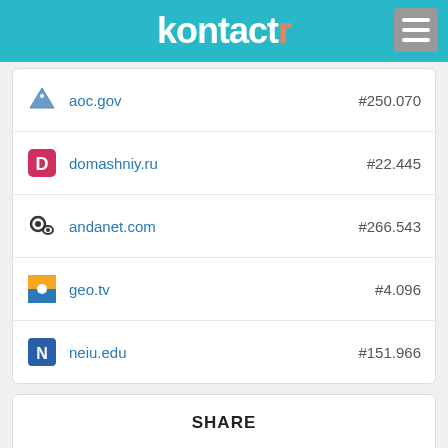[Figure (logo): Kontactr logo with teal background, white text 'kontactr' with orange 'r', and hamburger menu icon]
| Site | Rank |
| --- | --- |
| aoc.gov | #250.070 |
| domashniy.ru | #22.445 |
| andanet.com | #266.543 |
| geo.tv | #4.096 |
| neiu.edu | #151.966 |
SHARE
[Figure (infographic): Social share buttons: Facebook (blue), Twitter (light blue), LinkedIn (dark blue)]